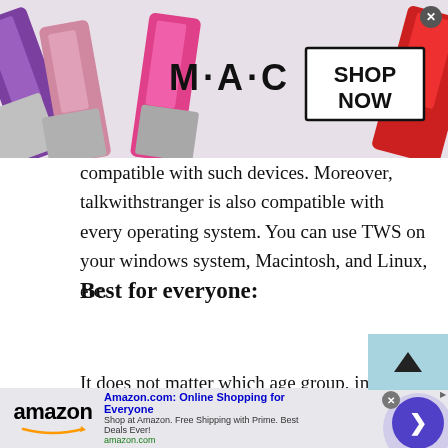[Figure (photo): MAC Cosmetics advertisement banner showing lipsticks and 'SHOP NOW' button]
compatible with such devices. Moreover, talkwithstranger is also compatible with every operating system. You can use TWS on your windows system, Macintosh, and Linux, etc.
Best for everyone:
It does not matter which age group, income class, or gender you belong to. If you want to talk to a stranger online, then TWS is the platform for you. The reason being, it does not concern over your age,
[Figure (screenshot): Amazon.com advertisement banner with logo, title 'Amazon.com: Online Shopping for Everyone', and navigation arrow]